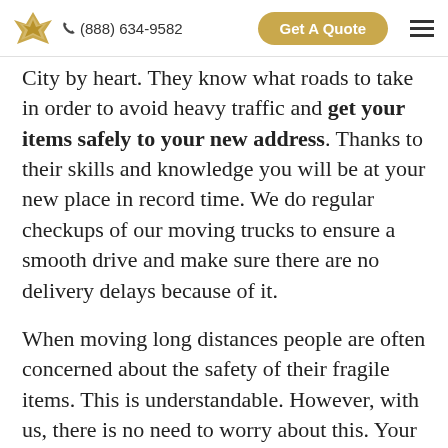(888) 634-9582  Get A Quote
City by heart. They know what roads to take in order to avoid heavy traffic and get your items safely to your new address. Thanks to their skills and knowledge you will be at your new place in record time. We do regular checkups of our moving trucks to ensure a smooth drive and make sure there are no delivery delays because of it.
When moving long distances people are often concerned about the safety of their fragile items. This is understandable. However, with us, there is no need to worry about this. Your items will be well protected and secured in the back of our truck. Our long distance movers…